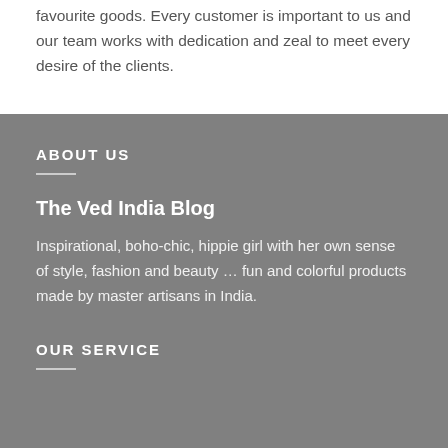favourite goods. Every customer is important to us and our team works with dedication and zeal to meet every desire of the clients.
ABOUT US
The Ved India Blog
Inspirational, boho-chic, hippie girl with her own sense of style, fashion and beauty … fun and colorful products made by master artisans in India.
OUR SERVICE